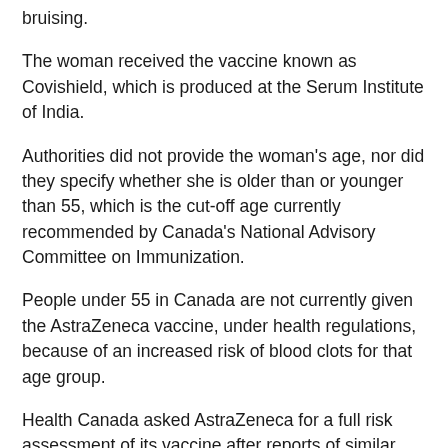bruising.
The woman received the vaccine known as Covishield, which is produced at the Serum Institute of India.
Authorities did not provide the woman's age, nor did they specify whether she is older than or younger than 55, which is the cut-off age currently recommended by Canada's National Advisory Committee on Immunization.
People under 55 in Canada are not currently given the AstraZeneca vaccine, under health regulations, because of an increased risk of blood clots for that age group.
Health Canada asked AstraZeneca for a full risk assessment of its vaccine after reports of similar clots in Europe, but says the side effect is extremely rare and the vaccine's benefits still outweigh its risks.
The risk of getting blood clots from COVID-19 itself is far